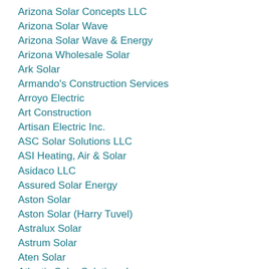Arizona Solar Concepts LLC
Arizona Solar Wave
Arizona Solar Wave & Energy
Arizona Wholesale Solar
Ark Solar
Armando's Construction Services
Arroyo Electric
Art Construction
Artisan Electric Inc.
ASC Solar Solutions LLC
ASI Heating, Air & Solar
Asidaco LLC
Assured Solar Energy
Aston Solar
Aston Solar (Harry Tuvel)
Astralux Solar
Astrum Solar
Aten Solar
Atlantic Solar Solutions Inc.